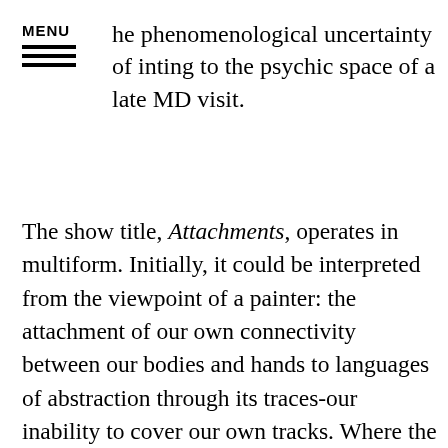MENU — he phenomenological uncertainty of inting to the psychic space of a late MD visit.
The show title, Attachments, operates in multiform. Initially, it could be interpreted from the viewpoint of a painter: the attachment of our own connectivity between our bodies and hands to languages of abstraction through its traces-our inability to cover our own tracks. Where the AbEx body fulfilled the athletic gesture, Jones' work feels internalized, traumatic, and medically scopic- a presence felt more in the spine than in the eyes. It seems more akin to Wols exploring and reworking the exploding head, a valence of